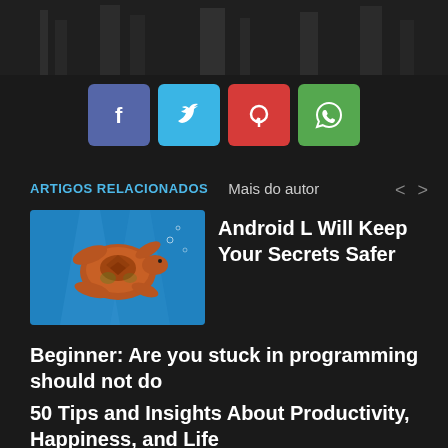[Figure (photo): Top strip showing a dark building/architectural image]
[Figure (infographic): Social share buttons: Facebook (blue), Twitter (cyan), Pinterest (red), WhatsApp (green)]
ARTIGOS RELACIONADOS
Mais do autor
[Figure (photo): Thumbnail of a sea turtle swimming in blue water]
Android L Will Keep Your Secrets Safer
Beginner: Are you stuck in programming should not do
50 Tips and Insights About Productivity, Happiness, and Life